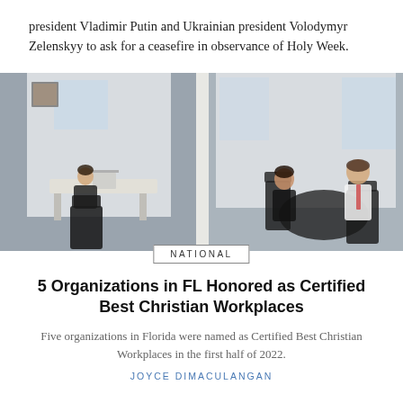president Vladimir Putin and Ukrainian president Volodymyr Zelenskyy to ask for a ceasefire in observance of Holy Week.
[Figure (photo): Office scene with two people meeting at a round table on the right side and one person working at a desk on the left side, in a modern white office environment.]
NATIONAL
5 Organizations in FL Honored as Certified Best Christian Workplaces
Five organizations in Florida were named as Certified Best Christian Workplaces in the first half of 2022.
JOYCE DIMACULANGAN